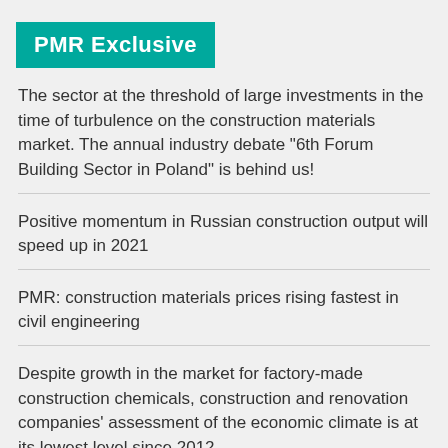PMR Exclusive
The sector at the threshold of large investments in the time of turbulence on the construction materials market. The annual industry debate “6th Forum Building Sector in Poland” is behind us!
Positive momentum in Russian construction output will speed up in 2021
PMR: construction materials prices rising fastest in civil engineering
Despite growth in the market for factory-made construction chemicals, construction and renovation companies’ assessment of the economic climate is at its lowest level since 2012